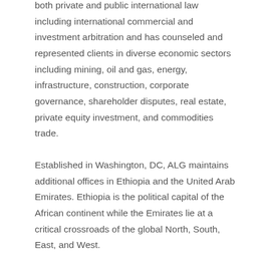both private and public international law including international commercial and investment arbitration and has counseled and represented clients in diverse economic sectors including mining, oil and gas, energy, infrastructure, construction, corporate governance, shareholder disputes, real estate, private equity investment, and commodities trade.
Established in Washington, DC, ALG maintains additional offices in Ethiopia and the United Arab Emirates. Ethiopia is the political capital of the African continent while the Emirates lie at a critical crossroads of the global North, South, East, and West.
ALG’s modern institutional structure and profound sensitivity to culture allow the privilege of offering commensurately world class legal services against competitive fees with a deep sense of duty and commitment.
ALG’s representation model is immeasurably unique. It offers extraordinary agility and unmatched cost effectiveness,